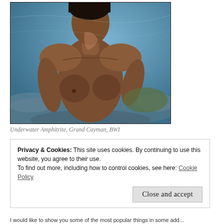[Figure (photo): Underwater photograph of the Amphitrite statue at Grand Cayman, BWI — shows the torso and upper body of a female statue underwater against a blue rocky background]
Underwater Amphitrite, Grand Cayman, BWI
Privacy & Cookies: This site uses cookies. By continuing to use this website, you agree to their use.
To find out more, including how to control cookies, see here: Cookie Policy
Close and accept
I would like to show you some of the most popular things in some add...